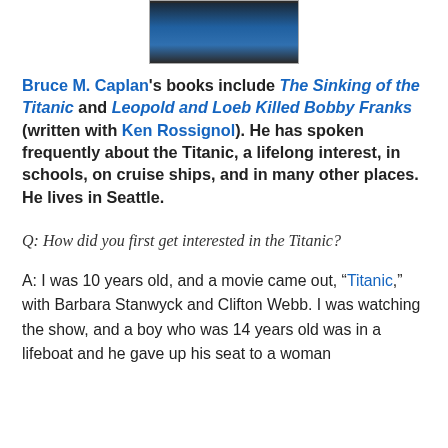[Figure (photo): Portrait photo of Bruce M. Caplan, partially visible at top of page, showing a man in a blue shirt]
Bruce M. Caplan's books include The Sinking of the Titanic and Leopold and Loeb Killed Bobby Franks (written with Ken Rossignol). He has spoken frequently about the Titanic, a lifelong interest, in schools, on cruise ships, and in many other places. He lives in Seattle.
Q: How did you first get interested in the Titanic?
A: I was 10 years old, and a movie came out, “Titanic,” with Barbara Stanwyck and Clifton Webb. I was watching the show, and a boy who was 14 years old was in a lifeboat and he gave up his seat to a woman